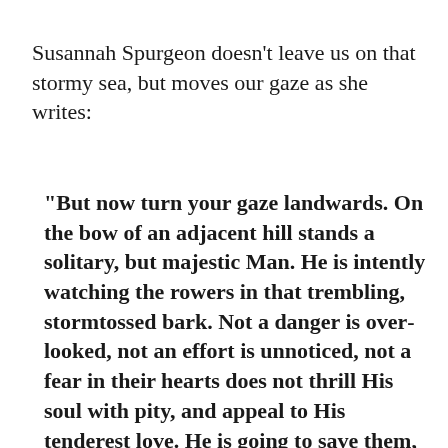Susannah Spurgeon doesn’t leave us on that stormy sea, but moves our gaze as she writes:
“But now turn your gaze landwards. On the bow of an adjacent hill stands a solitary, but majestic Man. He is intently watching the rowers in that trembling, storm-tossed bark. Not a danger is overlooked, not an effort is unnoticed, not a fear in their hearts does not thrill His soul with pity, and appeal to His tenderest love. He is going to save them, and in the manner of